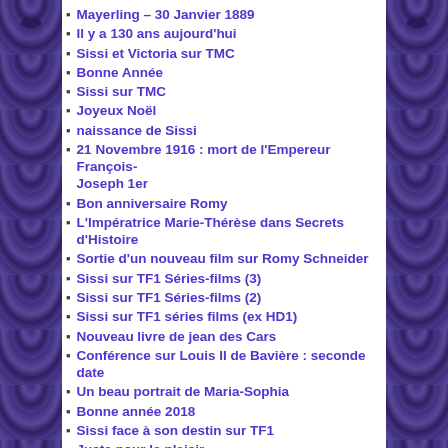Mayerling – 30 Janvier 1889
Il y a 130 ans aujourd'hui
Sissi et Victoria sur TMC
Bonne Année
Sissi sur TMC
Joyeux Noël
naissance de Sissi
21 Novembre 1916 : mort de l'Empereur François-Joseph 1er
Bon anniversaire Romy
L'Impératrice Marie-Thérèse dans Secrets d'Histoire
Sortie d'un nouveau film sur Romy Schneider
Sissi sur TF1 Séries-films (3)
Sissi sur TF1 Séries-films (2)
Sissi sur TF1 séries films (ex HD1)
Nouveau livre de jean des Cars
Conférence sur Louis II de Bavière : seconde date
Un beau portrait de Maria-Sophia
Bonne année 2018
Sissi face à son destin sur TF1
Juste pour le plaisir…